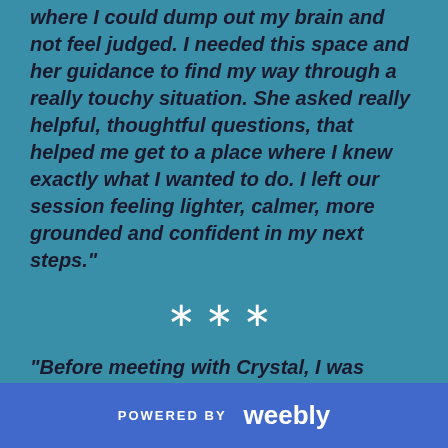where I could dump out my brain and not feel judged. I needed this space and her guidance to find my way through a really touchy situation. She asked really helpful, thoughtful questions, that helped me get to a place where I knew exactly what I wanted to do. I left our session feeling lighter, calmer, more grounded and confident in my next steps."
* * *
"Before meeting with Crystal, I was struggling with boundaries in interpersonal relationships. I felt stressed out, with negative thoughts interrupting times I wanted to be peaceful (especially before bed).  Crystal gave me specific journaling exercises
POWERED BY weebly